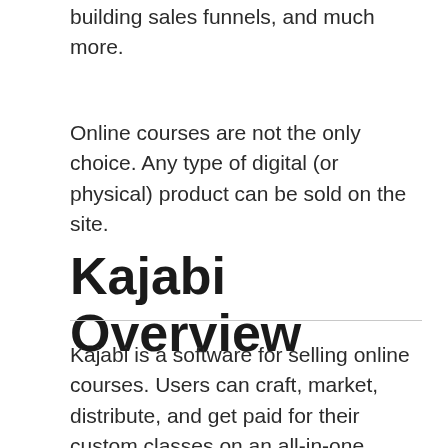building sales funnels, and much more.
Online courses are not the only choice. Any type of digital (or physical) product can be sold on the site.
Kajabi Overview
Kajabi is a software for selling online courses. Users can craft, market, distribute, and get paid for their custom classes on an all-in-one platform.